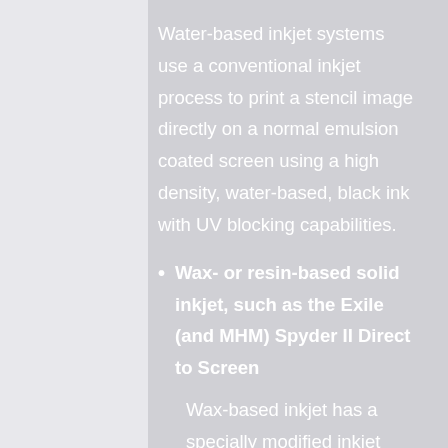Water-based inkjet systems use a conventional inkjet process to print a stencil image directly on a normal emulsion coated screen using a high density, water-based, black ink with UV blocking capabilities.
Wax- or resin-based solid inkjet, such as the Exile (and MHM) Spyder II Direct to Screen
Wax-based inkjet has a specially modified inkjet system that uses heat to 'melt' a solid wax- or resin-based,